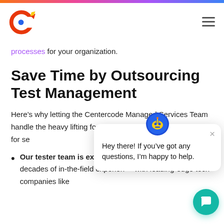processes for your organization.
Save Time by Outsourcing Test Management
Here’s why letting the Centercode Managed Services Team handle the heavy lifting for your beta test is your best option for se[curing results when] you need reliable resu[lts...]
Our tester team is experienced. They have over two decades of in-the-field experience with leading-edge tech companies like
[Figure (screenshot): Chat popup overlay with avatar icon and message: Hey there! If you've got any questions, I'm happy to help. Close button (X) and teal chat bubble button visible.]